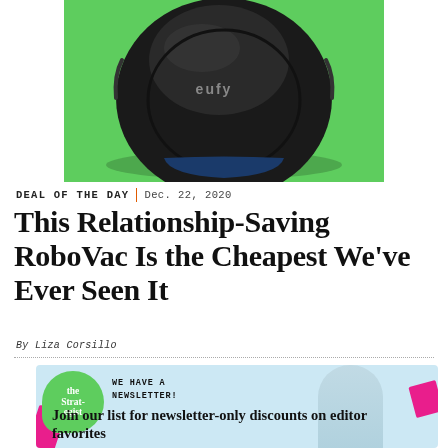[Figure (photo): Eufy RoboVac robot vacuum cleaner on a green background, top-down view showing the circular black device with 'eufy' branding]
DEAL OF THE DAY | Dec. 22, 2020
This Relationship-Saving RoboVac Is the Cheapest We've Ever Seen It
By Liza Corsillo
[Figure (infographic): Newsletter advertisement for The Strategist: green price-tag logo, 'WE HAVE A NEWSLETTER!' text, 'Join our list for newsletter-only discounts on editor favorites' with person and decorative magenta shapes]